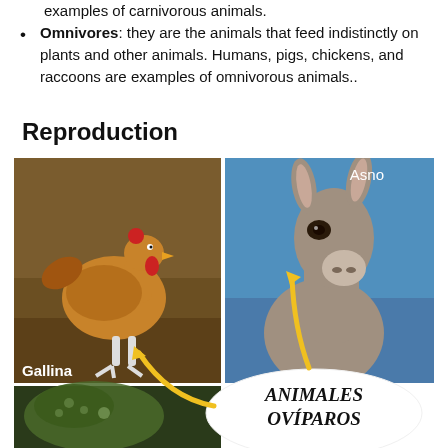examples of carnivorous animals.
Omnivores: they are the animals that feed indistinctly on plants and other animals. Humans, pigs, chickens, and raccoons are examples of omnivorous animals..
Reproduction
[Figure (photo): Two photos side by side: left shows a hen (Gallina) pecking at ground, right shows a donkey (Asno) close-up against blue sky. Below the hen photo is a partial photo of a green animal/reptile. Overlapping the bottom center is an illustrated callout with yellow arrows pointing to the animals, labelled ANIMALES OVÍPAROS in bold italic text.]